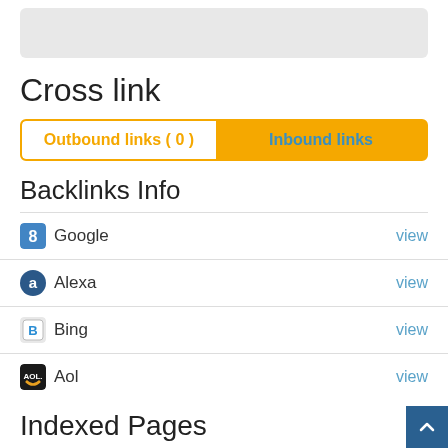[Figure (screenshot): Gray rounded rectangle UI placeholder at top]
Cross link
[Figure (screenshot): Tab bar with 'Outbound links ( 0 )' and 'Inbound links' tabs, orange border and background]
Backlinks Info
Google  view
Alexa  view
Bing  view
Aol  view
Indexed Pages